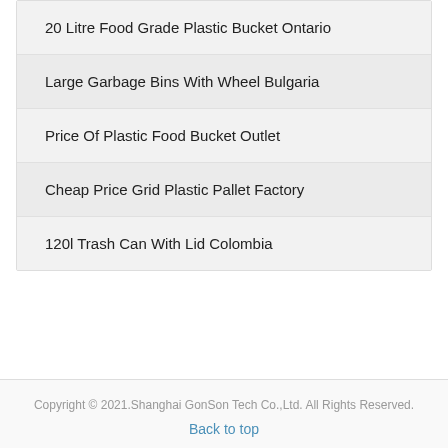20 Litre Food Grade Plastic Bucket Ontario
Large Garbage Bins With Wheel Bulgaria
Price Of Plastic Food Bucket Outlet
Cheap Price Grid Plastic Pallet Factory
120l Trash Can With Lid Colombia
Copyright © 2021.Shanghai GonSon Tech Co.,Ltd. All Rights Reserved.
Back to top